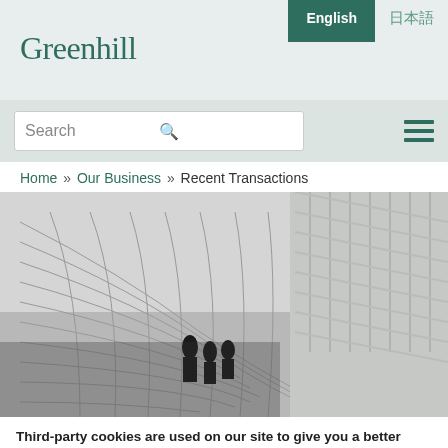Greenhill
English  日本語
[Figure (screenshot): Search bar with text input field and hamburger menu icon]
Home » Our Business » Recent Transactions
[Figure (photo): Black and white architectural photo of a curved glass building facade with geometric grid patterns and people visible through the glass]
Third-party cookies are used on our site to give you a better user experience and to monitor and improve the performance of the site.  You may change your cookie setting at any time from the  Privacy Policy.